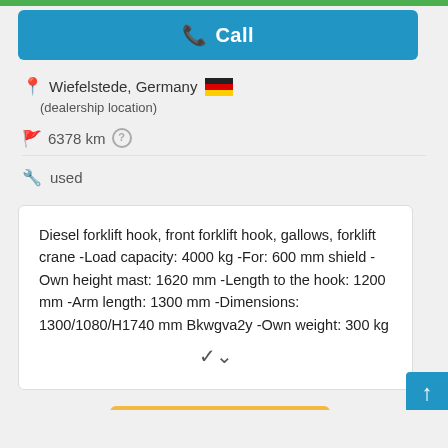Call
Wiefelstede, Germany (dealership location)
6378 km
used
Diesel forklift hook, front forklift hook, gallows, forklift crane -Load capacity: 4000 kg -For: 600 mm shield -Own height mast: 1620 mm -Length to the hook: 1200 mm -Arm length: 1300 mm -Dimensions: 1300/1080/H1740 mm Bkwgva2y -Own weight: 300 kg
Save search query